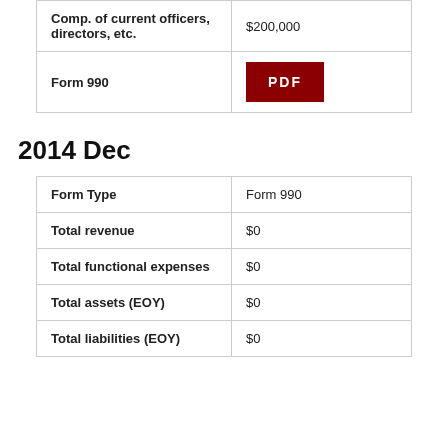| Comp. of current officers, directors, etc. | $200,000 |
| Form 990 | PDF |
2014 Dec
| Form Type | Form 990 |
| --- | --- |
| Total revenue | $0 |
| Total functional expenses | $0 |
| Total assets (EOY) | $0 |
| Total liabilities (EOY) | $0 |